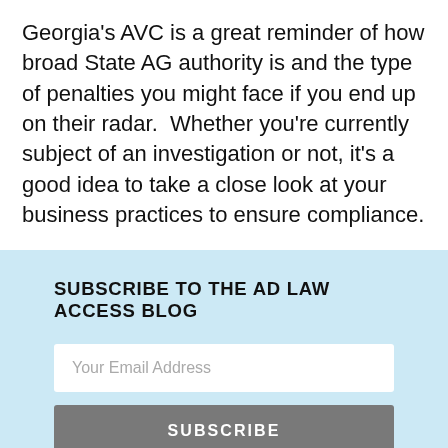Georgia's AVC is a great reminder of how broad State AG authority is and the type of penalties you might face if you end up on their radar.  Whether you're currently subject of an investigation or not, it's a good idea to take a close look at your business practices to ensure compliance.
SUBSCRIBE TO THE AD LAW ACCESS BLOG